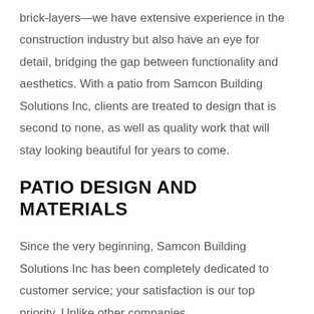brick-layers—we have extensive experience in the construction industry but also have an eye for detail, bridging the gap between functionality and aesthetics. With a patio from Samcon Building Solutions Inc, clients are treated to design that is second to none, as well as quality work that will stay looking beautiful for years to come.
PATIO DESIGN AND MATERIALS
Since the very beginning, Samcon Building Solutions Inc has been completely dedicated to customer service; your satisfaction is our top priority. Unlike other companies